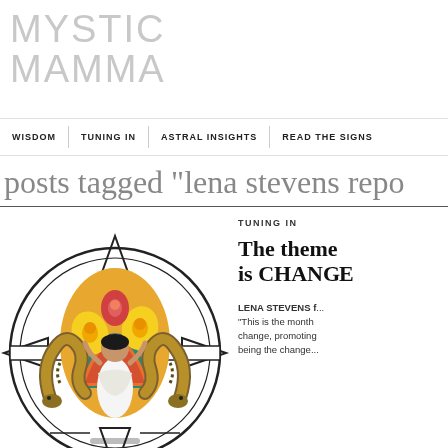MYSTIC MAMMA
WISDOM | TUNING IN | ASTRAL INSIGHTS | READ THE SIGNS
posts tagged "lena stevens repo..."
[Figure (illustration): Colorful illustration of a woman in white dress surrounded by snakes and tropical flowers in an ornate circular mandala design]
TUNING IN
The theme is CHANGE
LENA STEVENS f... "This is the month change, promoting being the change..."